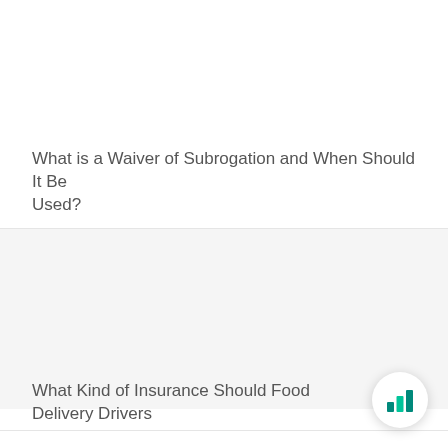What is a Waiver of Subrogation and When Should It Be Used?
What Kind of Insurance Should Food Delivery Drivers
[Figure (logo): Green bar chart icon in a circular white button, representing a chat or support widget]